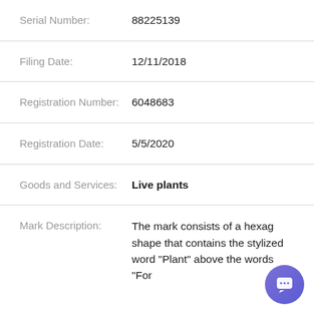Serial Number: 88225139
Filing Date: 12/11/2018
Registration Number: 6048683
Registration Date: 5/5/2020
Goods and Services: Live plants
Mark Description: The mark consists of a hexa... shape that contains the stylize... word "Plant" above the words "For...